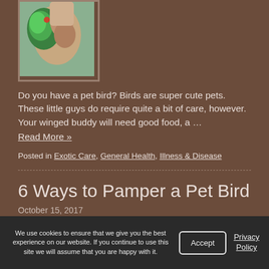[Figure (photo): Person holding a green parrot/bird]
Do you have a pet bird? Birds are super cute pets. These little guys do require quite a bit of care, however. Your winged buddy will need good food, a …
Read More »
Posted in Exotic Care, General Health, Illness & Disease
6 Ways to Pamper a Pet Bird
October 15, 2017
[Figure (photo): Green parrot with a dog]
We use cookies to ensure that we give you the best experience on our website. If you continue to use this site we will assume that you are happy with it.